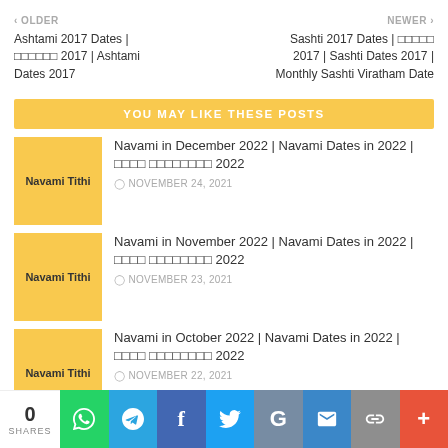< OLDER | NEWER >
Ashtami 2017 Dates | अष्टमी 2017 | Ashtami Dates 2017
Sashti 2017 Dates | षष्ठी 2017 | Sashti Dates 2017 | Monthly Sashti Viratham Date
YOU MAY LIKE THESE POSTS
[Figure (photo): Navami Tithi yellow thumbnail]
Navami in December 2022 | Navami Dates in 2022 | नवमी तिथियाँ 2022
NOVEMBER 24, 2021
[Figure (photo): Navami Tithi yellow thumbnail]
Navami in November 2022 | Navami Dates in 2022 | नवमी तिथियाँ 2022
NOVEMBER 23, 2021
[Figure (photo): Navami Tithi yellow thumbnail]
Navami in October 2022 | Navami Dates in 2022 | नवमी तिथियाँ 2022
NOVEMBER 22, 2021
0 SHARES | WhatsApp | Telegram | Facebook | Twitter | Google | Email | Link | More